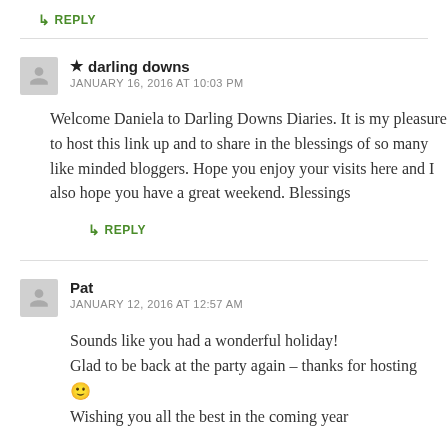↳ REPLY
★ darling downs
JANUARY 16, 2016 AT 10:03 PM
Welcome Daniela to Darling Downs Diaries. It is my pleasure to host this link up and to share in the blessings of so many like minded bloggers. Hope you enjoy your visits here and I also hope you have a great weekend. Blessings
↳ REPLY
Pat
JANUARY 12, 2016 AT 12:57 AM
Sounds like you had a wonderful holiday!
Glad to be back at the party again – thanks for hosting 🙂
Wishing you all the best in the coming year